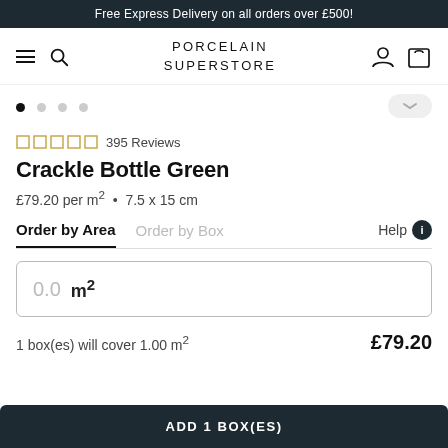Free Express Delivery on all orders over £500!
[Figure (logo): Porcelain Superstore navigation bar with hamburger menu, search icon, logo, user icon, and cart icon]
395 Reviews
Crackle Bottle Green
£79.20 per m² • 7.5 x 15 cm
Order by Area  Order by Box  Help
0.0 m²
1 box(es) will cover 1.00 m²  £79.20
ADD 1 BOX(ES)